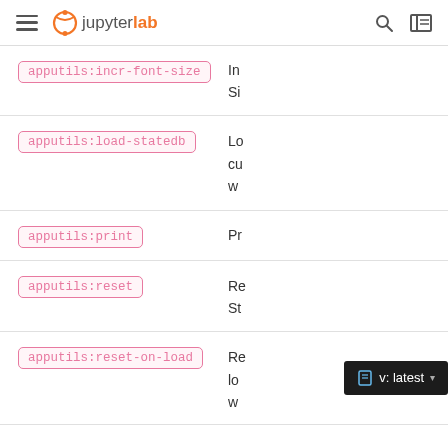JupyterLab
apputils:incr-font-size — Increase/Set Size
apputils:load-statedb — Load current workspace
apputils:print — Print
apputils:reset — Reset/State
apputils:reset-on-load — Reset on load (with version button)